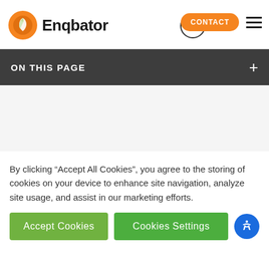Enqbator
ON THIS PAGE
By clicking “Accept All Cookies”, you agree to the storing of cookies on your device to enhance site navigation, analyze site usage, and assist in our marketing efforts.
Accept Cookies
Cookies Settings